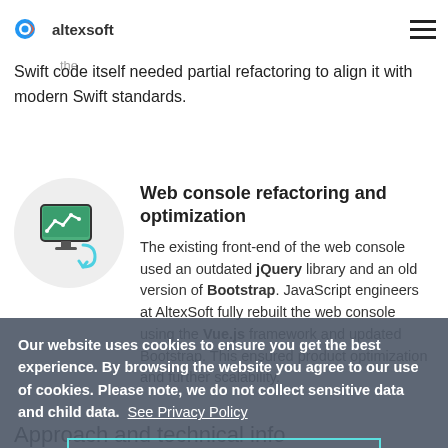altexsoft
stability and speed. For instance, the iOS application combined both Objective-C and Swift code. The AltexSoft mobile team rebuilt all modules using Swift. Additionally, the Swift code itself needed partial refactoring to align it with modern Swift standards.
Web console refactoring and optimization
The existing front-end of the web console used an outdated jQuery library and an old version of Bootstrap. JavaScript engineers at AltexSoft fully rebuilt the web console using the Vue.js framework and updated Bootstrap. This ensured product optimization and further scalability.
Our website uses cookies to ensure you get the best experience. By browsing the website you agree to our use of cookies. Please note, we do not collect sensitive data and child data. See Privacy Policy
Ok! Don't show it again
Approach and technical info